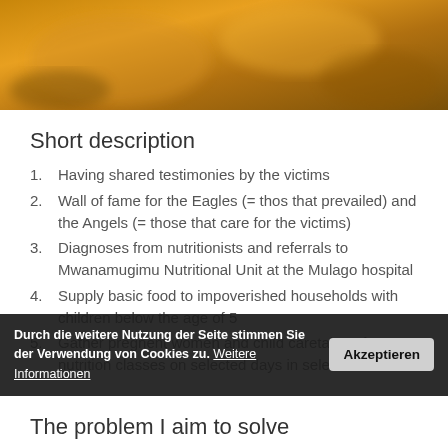[Figure (photo): Blurred warm-toned hero image with golden/amber colors, appears to show an outdoor scene]
Short description
Having shared testimonies by the victims
Wall of fame for the Eagles (= thos that prevailed) and the Angels (= those that care for the victims)
Diagnoses from nutritionists and referrals to Mwanamugimu Nutritional Unit at the Mulago hospital
Supply basic food to impoverished households with children below the age of 5
Gather pregnent women and child caretakers for nutrition classes on selected days in selected
Durch die weitere Nutzung der Seite stimmen Sie der Verwendung von Cookies zu. Weitere Informationen  Akzeptieren
The problem I aim to solve